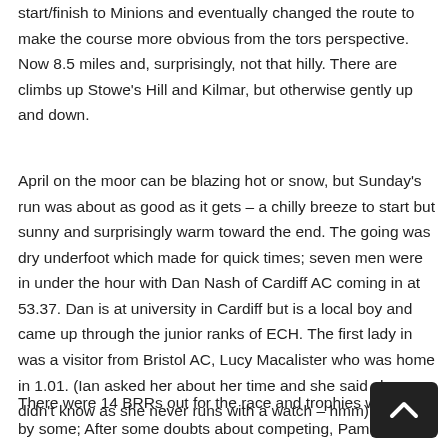start/finish to Minions and eventually changed the route to make the course more obvious from the tors perspective. Now 8.5 miles and, surprisingly, not that hilly. There are climbs up Stowe's Hill and Kilmar, but otherwise gently up and down.
April on the moor can be blazing hot or snow, but Sunday's run was about as good as it gets – a chilly breeze to start but sunny and surprisingly warm toward the end. The going was dry underfoot which made for quick times; seven men were in under the hour with Dan Nash of Cardiff AC coming in at 53.37. Dan is at university in Cardiff but is a local boy and came up through the junior ranks of ECH. The first lady in was a visitor from Bristol AC, Lucy Macalister who was home in 1.01. (Ian asked her about her time and she said she didn't know as she never runs with a watch – hmm).
There were 14 BRRs out for the race and trophies were had by some; After some doubts about competing, Pam Solomon had a blin...